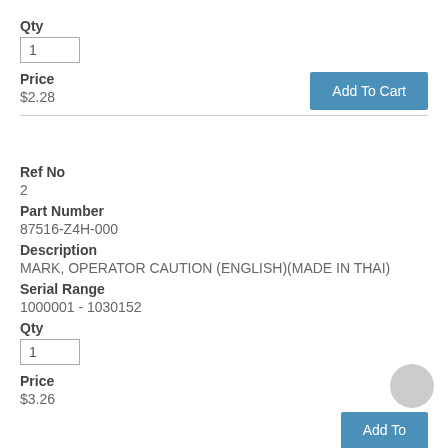Qty
1
Price
$2.28
Add To Cart
Ref No
2
Part Number
87516-Z4H-000
Description
MARK, OPERATOR CAUTION (ENGLISH)(MADE IN THAI)
Serial Range
1000001 - 1030152
Qty
1
Price
$3.26
Add To Cart